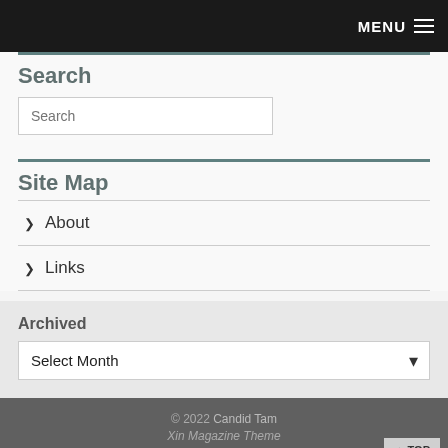MENU
Search
Search
Site Map
> About
> Links
Archived
Select Month
© 2022 Candid Tam
Xin Magazine Theme
About | Links